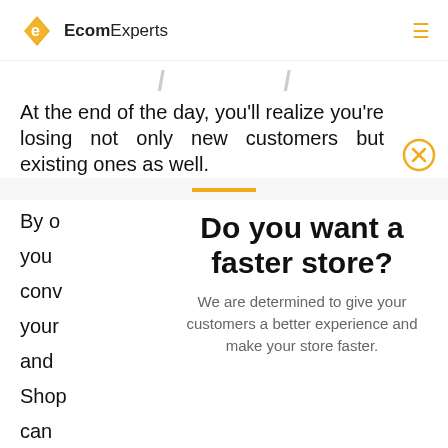EcomExperts
At the end of the day, you'll realize you're losing not only new customers but existing ones as well.
Do you want a faster store? We are determined to give your customers a better experience and make your store faster.
By o you conv your and Shop can